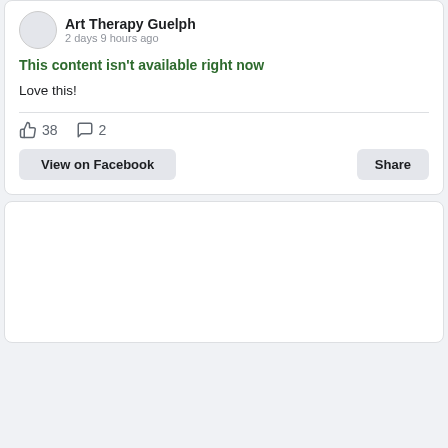Art Therapy Guelph
2 days 9 hours ago
This content isn't available right now
Love this!
38
2
View on Facebook
Share